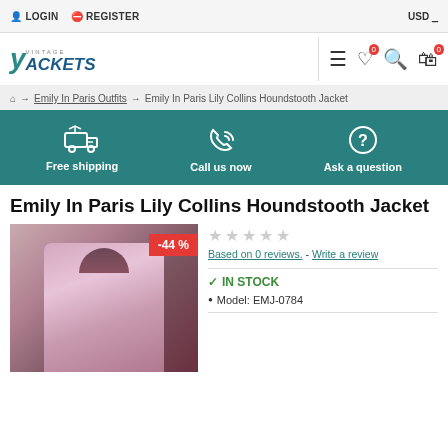LOGIN   REGISTER   USD
[Figure (logo): Vintage Jackets logo with stylized Y]
Free shipping   Call us now   Ask a question
Home → Emily In Paris Outfits → Emily In Paris Lily Collins Houndstooth Jacket
Emily In Paris Lily Collins Houndstooth Jacket
[Figure (photo): Woman wearing a pink houndstooth jacket, with a -44% discount badge]
Based on 0 reviews. - Write a review
IN STOCK
Model: EMJ-0784